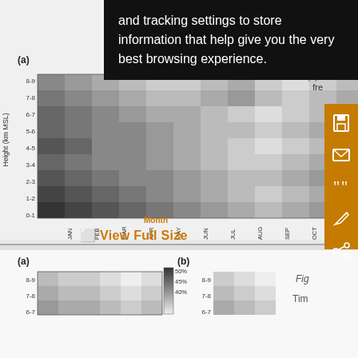[Figure (other): Website screenshot showing a heat map figure with a black cookie consent tooltip overlay covering part of the image. Left heatmap shows Height (km MSL) vs Month with grayscale color scale (2.5% to 10.0%). Right heatmap partially visible. Orange sidebar with save, email, cite, annotation, and share icons. Label (a) on top left.]
and tracking settings to store information that help give you the very best browsing experience.
(a)
Month
(a)
Month
View Full Size
[Figure (other): Bottom partial section showing two heatmaps labeled (a) and (b) with Height (km MSL) on y-axis. Color scale shows 40%-50% range. FIG and Tim labels visible at bottom right.]
(a)
(b)
FIG
Tim